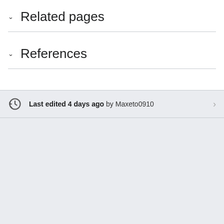∨ Related pages
∨ References
Last edited 4 days ago by Maxeto0910